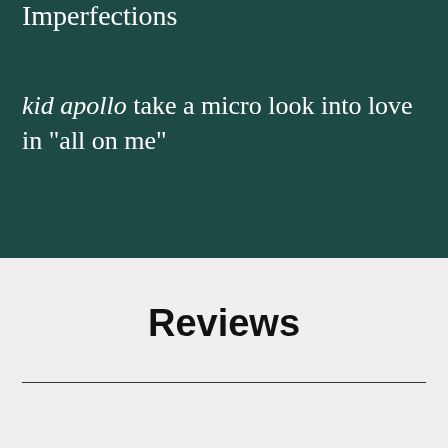Imperfections
kid apollo take a micro look into love in "all on me"
Reviews